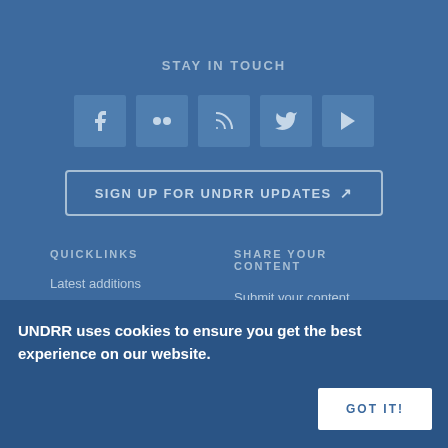STAY IN TOUCH
[Figure (infographic): Row of 5 social media icon buttons: Facebook, Flickr, RSS, Twitter, YouTube]
SIGN UP FOR UNDRR UPDATES
QUICKLINKS
SHARE YOUR CONTENT
Latest additions
Understanding disaster risks
Submit your content (articles, publications, events, jobs, etc.)
UNDRR uses cookies to ensure you get the best experience on our website.
GOT IT!